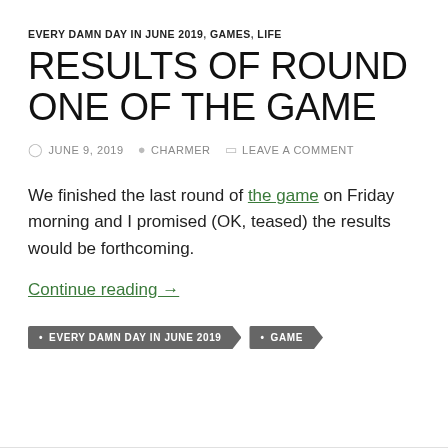EVERY DAMN DAY IN JUNE 2019, GAMES, LIFE
RESULTS OF ROUND ONE OF THE GAME
JUNE 9, 2019  CHARMER  LEAVE A COMMENT
We finished the last round of the game on Friday morning and I promised (OK, teased) the results would be forthcoming.
Continue reading →
• EVERY DAMN DAY IN JUNE 2019  • GAME